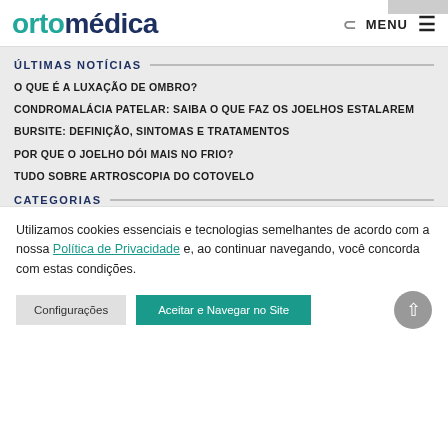ortomedica — MENU
ÚLTIMAS NOTÍCIAS
O QUE É A LUXAÇÃO DE OMBRO?
CONDROMALÁCIA PATELAR: SAIBA O QUE FAZ OS JOELHOS ESTALAREM
BURSITE: DEFINIÇÃO, SINTOMAS E TRATAMENTOS
POR QUE O JOELHO DÓI MAIS NO FRIO?
TUDO SOBRE ARTROSCOPIA DO COTOVELO
CATEGORIAS
Utilizamos cookies essenciais e tecnologias semelhantes de acordo com a nossa Política de Privacidade e, ao continuar navegando, você concorda com estas condições.
Configurações | Aceitar e Navegar no Site